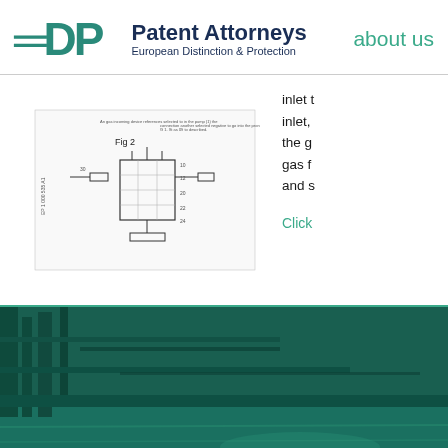EDP Patent Attorneys European Distinction & Protection | about us
[Figure (engineering-diagram): Patent diagram showing Fig 2, a technical schematic of a gas inlet device with labeled components, document number EP 1 000 535 A1]
inlet t inlet, the g gas f and s
Click
[Figure (photo): Industrial water treatment or aquaculture facility photograph with teal/green color overlay, showing tanks or ponds with structural supports]
YOU'RE AT